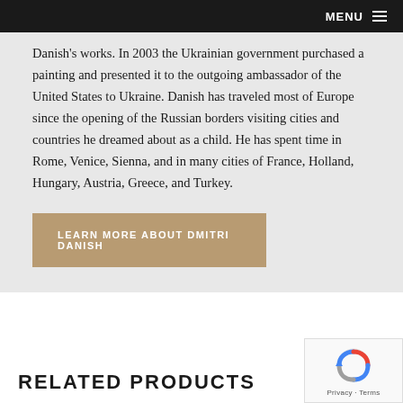MENU
Danish's works. In 2003 the Ukrainian government purchased a painting and presented it to the outgoing ambassador of the United States to Ukraine. Danish has traveled most of Europe since the opening of the Russian borders visiting cities and countries he dreamed about as a child. He has spent time in Rome, Venice, Sienna, and in many cities of France, Holland, Hungary, Austria, Greece, and Turkey.
LEARN MORE ABOUT DMITRI DANISH
RELATED PRODUCTS